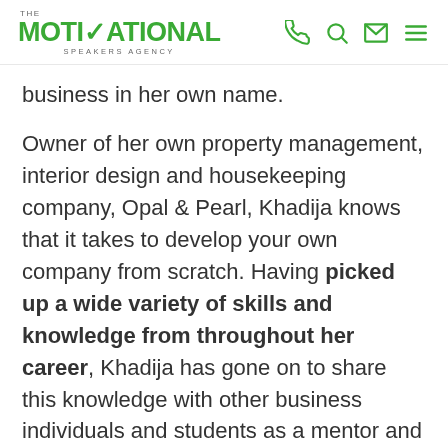THE MOTIVATIONAL SPEAKERS AGENCY
business in her own name.
Owner of her own property management, interior design and housekeeping company, Opal & Pearl, Khadija knows that it takes to develop your own company from scratch. Having picked up a wide variety of skills and knowledge from throughout her career, Khadija has gone on to share this knowledge with other business individuals and students as a mentor and adviser.